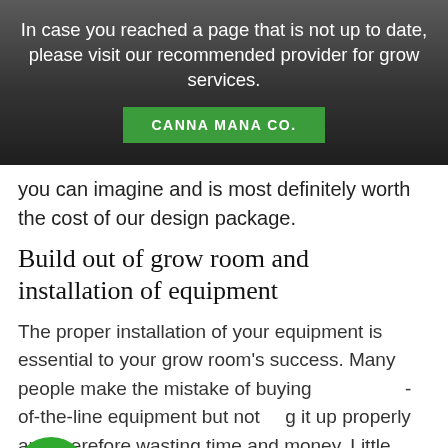In case you reached a page that is not up to date, please visit our recommended provider for grow services.
CANNA MANA CO.
you can imagine and is most definitely worth the cost of our design package.
Build out of grow room and installation of equipment
The proper installation of your equipment is essential to your grow room's success. Many people make the mistake of buying -of-the-line equipment but not g it up properly and therefore wasting time and money. Little tricks of